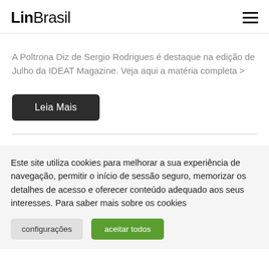LinBrasil
A Poltrona Diz de Sergio Rodrigues é destaque na edição de Julho da IDEAT Magazine. Veja aqui a matéria completa >
Leia Mais
Este site utiliza cookies para melhorar a sua experiência de navegação, permitir o início de sessão seguro, memorizar os detalhes de acesso e oferecer conteúdo adequado aos seus interesses. Para saber mais sobre os cookies
configurações
aceitar todos